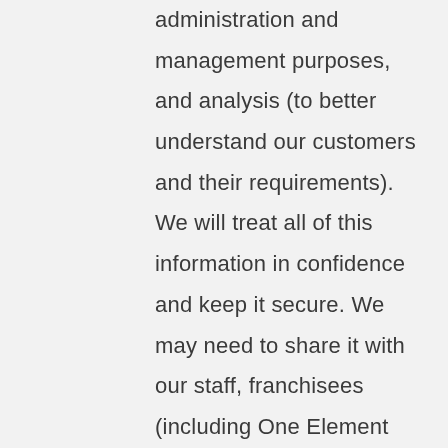administration and management purposes, and analysis (to better understand our customers and their requirements). We will treat all of this information in confidence and keep it secure. We may need to share it with our staff, franchisees (including One Element Ltd), trainers, MailChimp, Team Up, GoCardless for the purpose of helping us to provide our services. For more information about how we use your data please see our Privacy Policy which also contains information about your privacy rights.